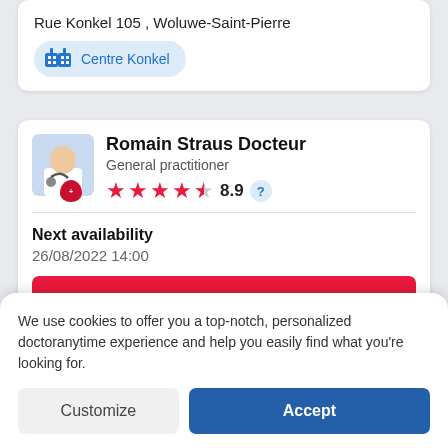Rue Konkel 105 , Woluwe-Saint-Pierre
Centre Konkel
Romain Straus Docteur
General practitioner
8.9
Next availability
26/08/2022 14:00
Book an appointment
Rue de la Sapinière 10 , Grez-Doiceau
We use cookies to offer you a top-notch, personalized doctoranytime experience and help you easily find what you're looking for.
Customize
Accept